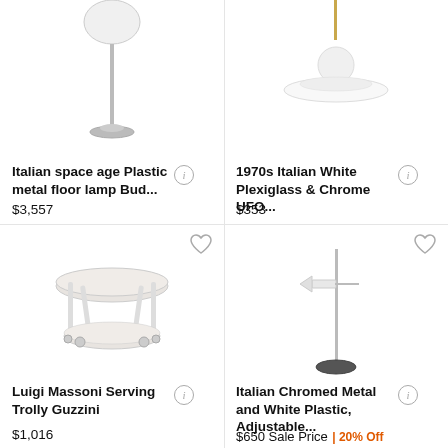[Figure (photo): Italian space age plastic metal floor lamp with white globe top and chrome stand]
Italian space age Plastic metal floor lamp Bud...
$3,557
[Figure (photo): 1970s Italian White Plexiglass & Chrome UFO pendant lamp]
1970s Italian White Plexiglass & Chrome UFO...
$353
[Figure (photo): Luigi Massoni Serving Trolley Guzzini white round two-tier trolley on wheels]
Luigi Massoni Serving Trolly Guzzini
$1,016
[Figure (photo): Italian Chromed Metal and White Plastic Adjustable floor lamp with dark base]
Italian Chromed Metal and White Plastic, Adjustable...
$650 Sale Price | 20% Off